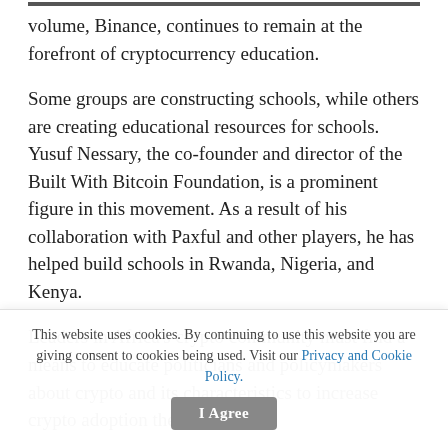volume, Binance, continues to remain at the forefront of cryptocurrency education.
Some groups are constructing schools, while others are creating educational resources for schools. Yusuf Nessary, the co-founder and director of the Built With Bitcoin Foundation, is a prominent figure in this movement. As a result of his collaboration with Paxful and other players, he has helped build schools in Rwanda, Nigeria, and Kenya.
Leaders in Africa's crypto community must find a means to educate politicians and policymakers about crypto and its characteristics to increase crypto adoption there.
Crypto's capacity to move, store, and safeguard wealth
This website uses cookies. By continuing to use this website you are giving consent to cookies being used. Visit our Privacy and Cookie Policy.